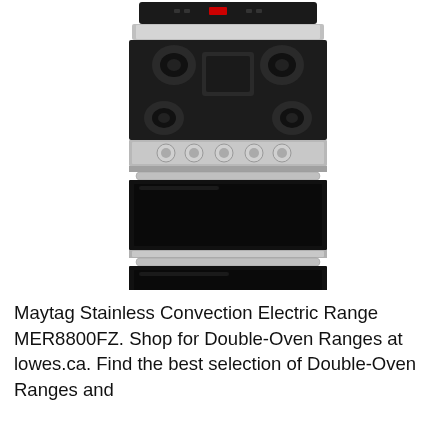[Figure (photo): Maytag stainless steel double-oven electric range MER8800FZ, front view showing gas cooktop with five burners, control knobs, digital display panel, and two oven compartments with black glass doors and stainless steel handles.]
Maytag Stainless Convection Electric Range MER8800FZ. Shop for Double-Oven Ranges at lowes.ca. Find the best selection of Double-Oven Ranges and